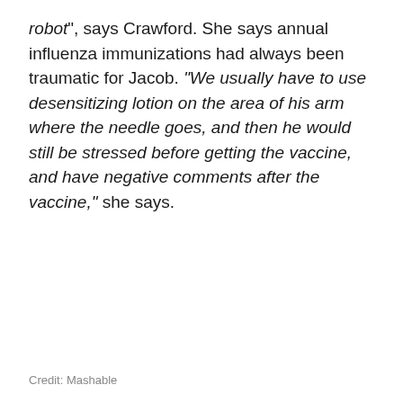robot”, says Crawford. She says annual influenza immunizations had always been traumatic for Jacob. “We usually have to use desensitizing lotion on the area of his arm where the needle goes, and then he would still be stressed before getting the vaccine, and have negative comments after the vaccine,” she says.
Credit: Mashable